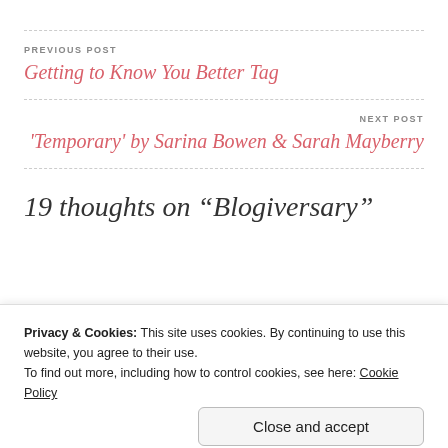PREVIOUS POST
Getting to Know You Better Tag
NEXT POST
'Temporary' by Sarina Bowen & Sarah Mayberry
19 thoughts on “Blogiversary”
Privacy & Cookies: This site uses cookies. By continuing to use this website, you agree to their use.
To find out more, including how to control cookies, see here: Cookie Policy
Close and accept